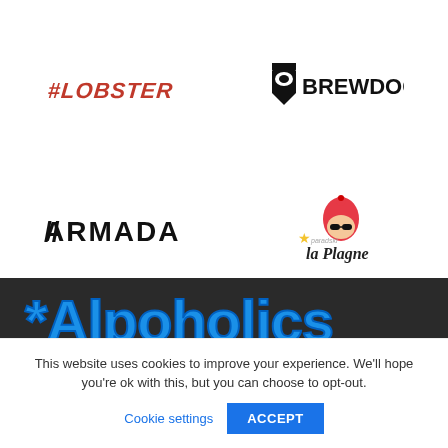[Figure (logo): #LOBSTER logo in black handwritten/graffiti style font]
[Figure (logo): BREWDOG logo with shield icon containing a crown/face graphic, bold black text]
[Figure (logo): ARMADA logo in bold black angular/geometric font]
[Figure (logo): La Plagne logo with cartoon gnome wearing red hat and sunglasses, yellow star, red and black text]
[Figure (logo): Alpoholics logo in bold blue text on dark/black background banner]
This website uses cookies to improve your experience. We'll hope you're ok with this, but you can choose to opt-out.
Cookie settings  ACCEPT